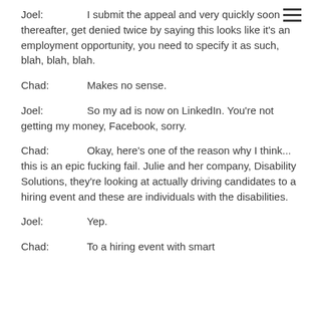Joel: I submit the appeal and very quickly soon thereafter, get denied twice by saying this looks like it's an employment opportunity, you need to specify it as such, blah, blah, blah.
Chad: Makes no sense.
Joel: So my ad is now on LinkedIn. You're not getting my money, Facebook, sorry.
Chad: Okay, here's one of the reason why I think... this is an epic fucking fail. Julie and her company, Disability Solutions, they're looking at actually driving candidates to a hiring event and these are individuals with the disabilities.
Joel: Yep.
Chad: To a hiring event with smart